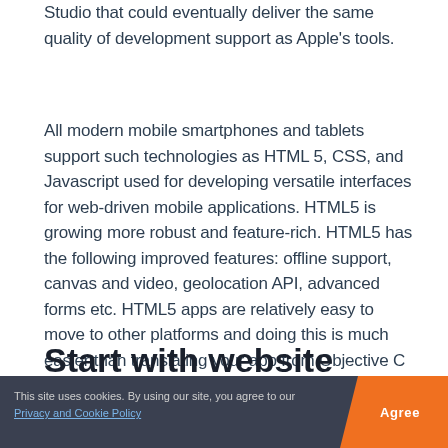Studio that could eventually deliver the same quality of development support as Apple's tools.
All modern mobile smartphones and tablets support such technologies as HTML 5, CSS, and Javascript used for developing versatile interfaces for web-driven mobile applications. HTML5 is growing more robust and feature-rich. HTML5 has the following improved features: offline support, canvas and video, geolocation API, advanced forms etc. HTML5 apps are relatively easy to move to other platforms and doing this is much easier than translating your app from Objective C to Java.
Start with website
This site uses cookies. By using our site, you agree to our Privacy and Cookie Policy